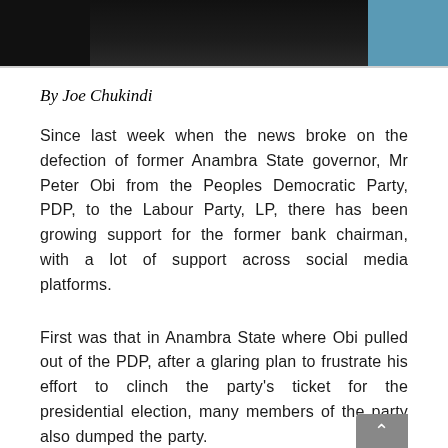[Figure (photo): Partial photograph of a person wearing dark clothing against a light blue background, cropped at the top]
By Joe Chukindi
Since last week when the news broke on the defection of former Anambra State governor, Mr Peter Obi from the Peoples Democratic Party, PDP, to the Labour Party, LP, there has been growing support for the former bank chairman, with a lot of support across social media platforms.
First was that in Anambra State where Obi pulled out of the PDP, after a glaring plan to frustrate his effort to clinch the party's ticket for the presidential election, many members of the party also dumped the party.